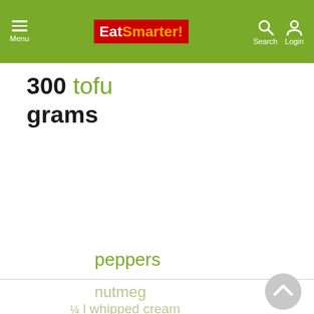EatSmarter! — Menu | Search | Login
300 tofu
grams
peppers
nutmeg
¼ l whipped cream